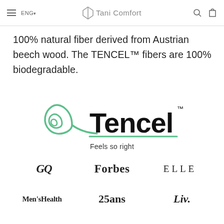ENG ▾  Tani Comfort
100% natural fiber derived from Austrian beech wood. The TENCEL™ fibers are 100% biodegradable.
[Figure (logo): Tencel logo with leaf swirl icon in green and text 'Tencel™ Feels so right']
[Figure (logo): Media logos: GQ, Forbes, ELLE, Men's Health, 25ans, Liv.]